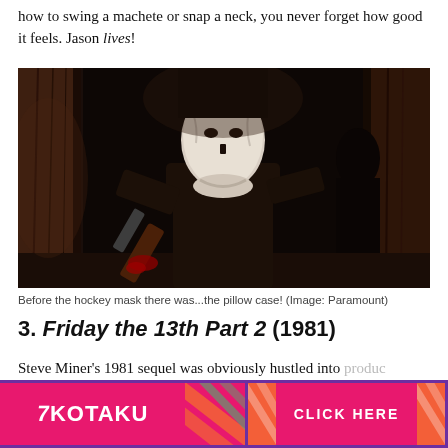how to swing a machete or snap a neck, you never forget how good it feels. Jason lives!
[Figure (photo): A figure in a white pillowcase mask and dark clothing holds a weapon in a dark wooden interior setting — Jason Voorhees from Friday the 13th Part 2.]
Before the hockey mask there was...the pillow case! (Image: Paramount)
3. Friday the 13th Part 2 (1981)
Steve Miner's 1981 sequel was obviously hustled into production after the surprise success of the first film a year previously, but damn if it doesn't make Jason Voorhees...
[Figure (other): Kotaku advertisement banner with CLICK HERE button, pink/magenta background with diagonal stripe accents and purple border.]